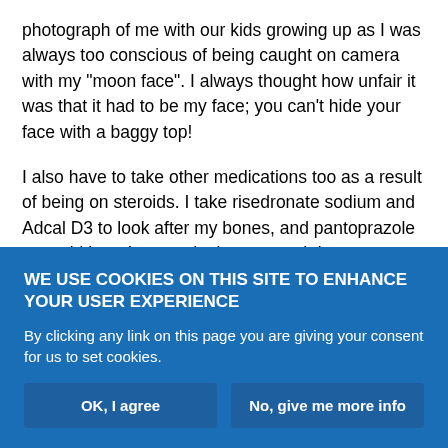photograph of me with our kids growing up as I was always too conscious of being caught on camera with my "moon face". I always thought how unfair it was that it had to be my face; you can't hide your face with a baggy top!
I also have to take other medications too as a result of being on steroids. I take risedronate sodium and Adcal D3 to look after my bones, and pantoprazole to avoid heartburn and other stomach issues.
I receive a benralizumab injection every 8 weeks. Previous to this, I was on omalizumab injections, which meant I had to travel to the
WE USE COOKIES ON THIS SITE TO ENHANCE YOUR USER EXPERIENCE
By clicking any link on this page you are giving your consent for us to set cookies.
OK, I agree
No, give me more info